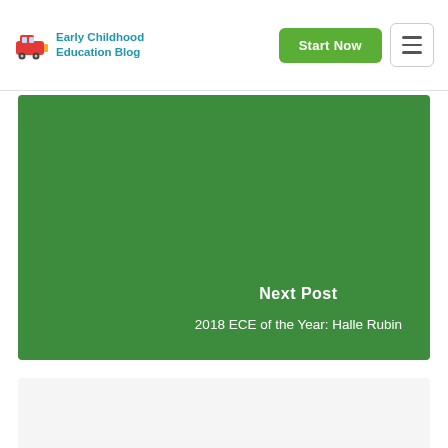Early Childhood Education Blog
[Figure (screenshot): Green banner section showing Next Post navigation with title '2018 ECE of the Year: Halle Rubin']
Next Post
2018 ECE of the Year: Halle Rubin